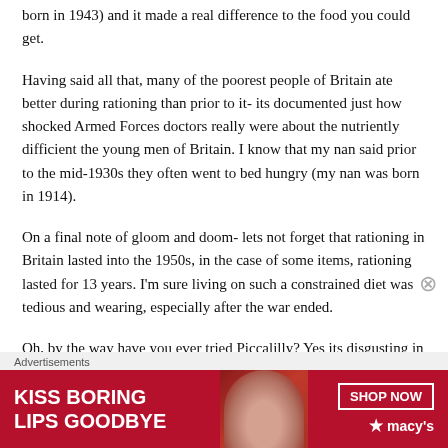born in 1943) and it made a real difference to the food you could get.
Having said all that, many of the poorest people of Britain ate better during rationing than prior to it- its documented just how shocked Armed Forces doctors really were about the nutriently difficient the young men of Britain. I know that my nan said prior to the mid-1930s they often went to bed hungry (my nan was born in 1914).
On a final note of gloom and doom- lets not forget that rationing in Britain lasted into the 1950s, in the case of some items, rationing lasted for 13 years. I’m sure living on such a constrained diet was tedious and wearing, especially after the war ended.
Oh, by the way have you ever tried Piccalilly? Yes its disgusting in colour, texture and the choice of
[Figure (other): Advertisement banner: red background with woman's face, 'KISS BORING LIPS GOODBYE' text on left, 'SHOP NOW' button and macys star logo on right]
Advertisements